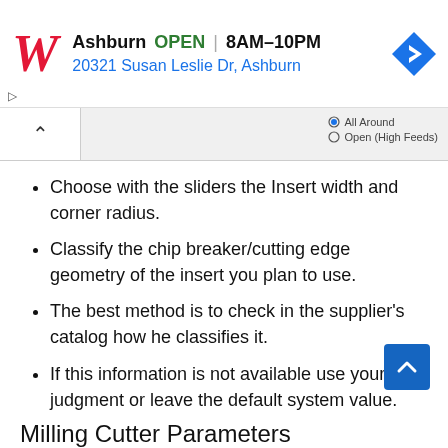[Figure (screenshot): Walgreens ad banner showing store in Ashburn, OPEN 8AM-10PM, address 20321 Susan Leslie Dr, Ashburn, with navigation icon]
[Figure (screenshot): UI toolbar with collapse caret and radio buttons: All Around (selected), Open (High Feeds)]
Choose with the sliders the Insert width and corner radius.
Classify the chip breaker/cutting edge geometry of the insert you plan to use.
The best method is to check in the supplier's catalog how he classifies it.
If this information is not available use your best judgment or leave the default system value.
Milling Cutter Parameters